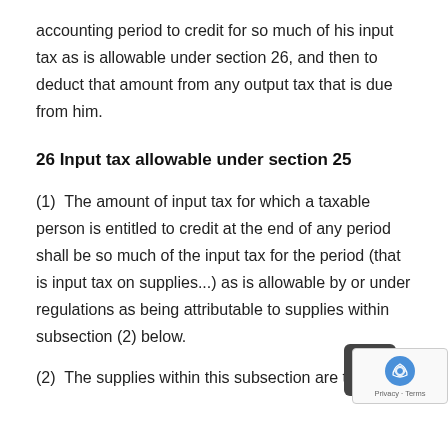accounting period to credit for so much of his input tax as is allowable under section 26, and then to deduct that amount from any output tax that is due from him.
26 Input tax allowable under section 25
(1)  The amount of input tax for which a taxable person is entitled to credit at the end of any period shall be so much of the input tax for the period (that is input tax on supplies...) as is allowable by or under regulations as being attributable to supplies within subsection (2) below.
(2)  The supplies within this subsection are the following, namely those described below the...